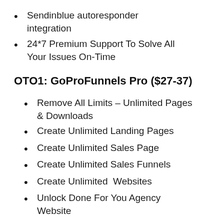Sendinblue autoresponder integration
24*7 Premium Support To Solve All Your Issues On-Time
OTO1: GoProFunnels Pro ($27-37)
Remove All Limits – Unlimited Pages & Downloads
Create Unlimited Landing Pages
Create Unlimited Sales Page
Create Unlimited Sales Funnels
Create Unlimited  Websites
Unlock Done For You Agency Website